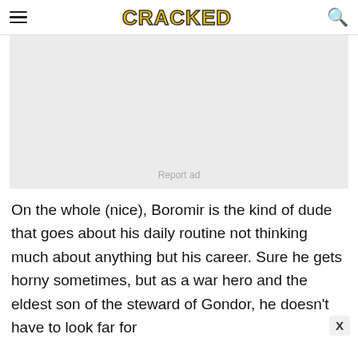CRACKED
[Figure (other): Advertisement placeholder box with 'Report ad' text]
On the whole (nice), Boromir is the kind of dude that goes about his daily routine not thinking much about anything but his career. Sure he gets horny sometimes, but as a war hero and the eldest son of the steward of Gondor, he doesn't have to look far for